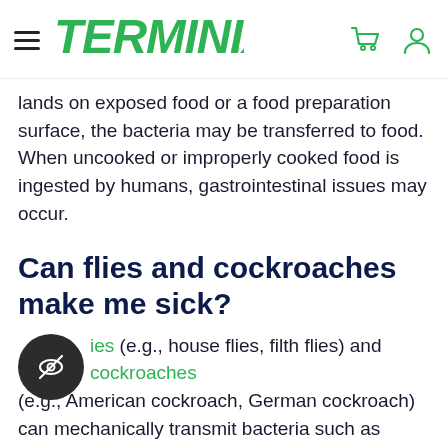TERMINIX (navigation header with hamburger menu, cart icon, and user icon)
lands on exposed food or a food preparation surface, the bacteria may be transferred to food. When uncooked or improperly cooked food is ingested by humans, gastrointestinal issues may occur.
Can flies and cockroaches make me sick?
Flies (e.g., house flies, filth flies) and cockroaches (e.g., American cockroach, German cockroach) can mechanically transmit bacteria such as Salmonella, Staphylococcus aureus, Escherichia coli and